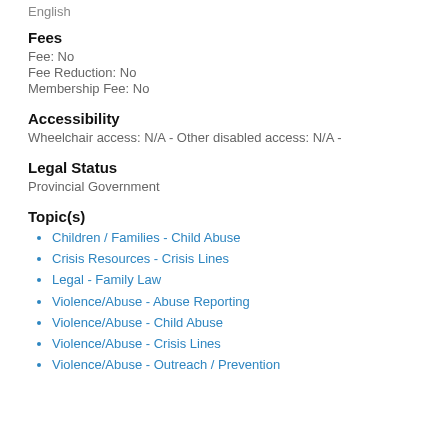English
Fees
Fee: No
Fee Reduction: No
Membership Fee: No
Accessibility
Wheelchair access: N/A - Other disabled access: N/A -
Legal Status
Provincial Government
Topic(s)
Children / Families - Child Abuse
Crisis Resources - Crisis Lines
Legal - Family Law
Violence/Abuse - Abuse Reporting
Violence/Abuse - Child Abuse
Violence/Abuse - Crisis Lines
Violence/Abuse - Outreach / Prevention